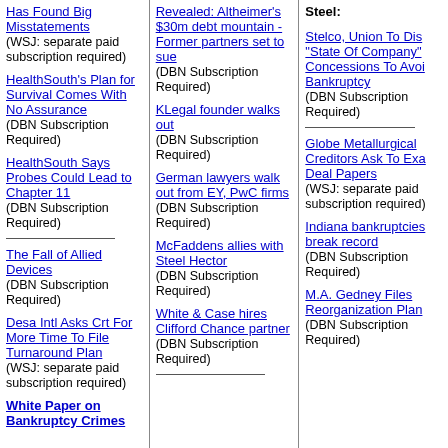Has Found Big Misstatements (WSJ: separate paid subscription required)
HealthSouth's Plan for Survival Comes With No Assurance (DBN Subscription Required)
HealthSouth Says Probes Could Lead to Chapter 11 (DBN Subscription Required)
The Fall of Allied Devices (DBN Subscription Required)
Desa Intl Asks Crt For More Time To File Turnaround Plan (WSJ: separate paid subscription required)
White Paper on Bankruptcy Crimes
Revealed: Altheimer's $30m debt mountain - Former partners set to sue (DBN Subscription Required)
KLegal founder walks out (DBN Subscription Required)
German lawyers walk out from EY, PwC firms (DBN Subscription Required)
McFaddens allies with Steel Hector (DBN Subscription Required)
White & Case hires Clifford Chance partner (DBN Subscription Required)
Steel:
Stelco, Union To Dis... "State Of Company" Concessions To Avoi... Bankruptcy (DBN Subscription Required)
Globe Metallurgical Creditors Ask To Exa... Deal Papers (WSJ: separate paid subscription required)
Indiana bankruptcies break record (DBN Subscription Required)
M.A. Gedney Files Reorganization Plan (DBN Subscription Required)